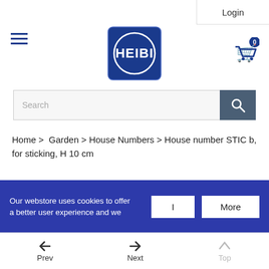Login
[Figure (logo): HEIBI logo — blue square with rounded corners, white circle and HEIBI text in white]
Search
Home > Garden > House Numbers > House number STIC b, for sticking, H 10 cm
Our webstore uses cookies to offer a better user experience and we
Prev  Next  Top